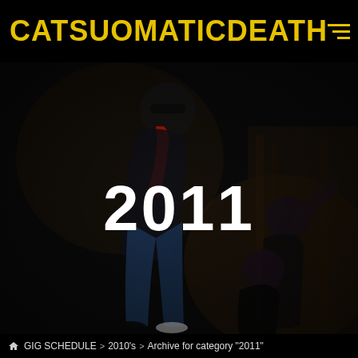CATSUOMATICDEATH≡
[Figure (photo): Band photo showing three people in a dark underground/industrial setting. One person (tall, wearing sunglasses, red scarf/necktie, jeans) leans against a wall on the left. Two other band members (female-presenting, dark hair, dark clothing) are positioned on the right side of the frame near a textured concrete wall. The year '2011' is overlaid in large white bold text in the center of the image.]
Home  GIG SCHEDULE  >  2010's  >  Archive for category "2011"